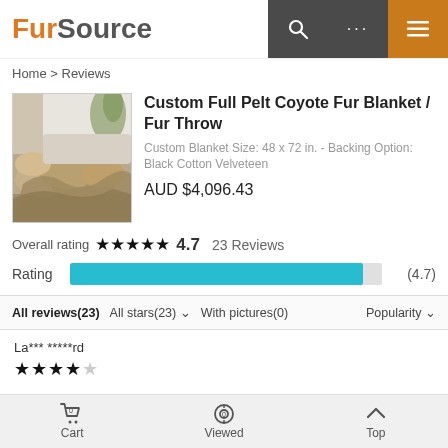FurSource
Home > Reviews
[Figure (photo): Product photo of a coyote fur blanket draped over a couch]
Custom Full Pelt Coyote Fur Blanket / Fur Throw
Custom Blanket Size: 48 x 72 in. - Backing Option: Black Cotton Velveteen
AUD $4,096.43
Overall rating ★★★★★ 4.7  23 Reviews
Rating (4.7)
All reviews(23)  All stars(23) ∨  With pictures(0)  Popularity ∨
La*** *****rd
★★★★☆
Cart  Viewed  Top